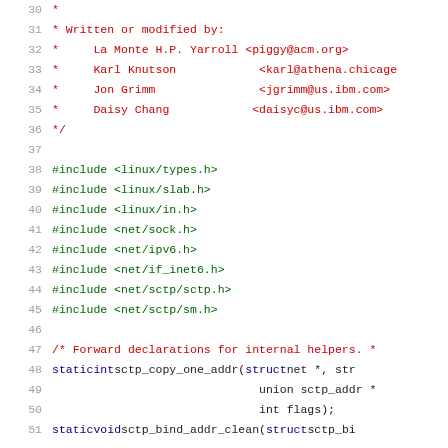Source code listing, lines 30-51, showing C file header comments and include directives for SCTP kernel module
30:  *
31:  * Written or modified by:
32:  *     La Monte H.P. Yarroll <piggy@acm.org>
33:  *     Karl Knutson              <karl@athena.chicago...>
34:  *     Jon Grimm                 <jgrimm@us.ibm.com>
35:  *     Daisy Chang               <daisyc@us.ibm.com>
36:  */
37:  (blank)
38: #include <linux/types.h>
39: #include <linux/slab.h>
40: #include <linux/in.h>
41: #include <net/sock.h>
42: #include <net/ipv6.h>
43: #include <net/if_inet6.h>
44: #include <net/sctp/sctp.h>
45: #include <net/sctp/sm.h>
46: (blank)
47: /* Forward declarations for internal helpers. */
48: static int sctp_copy_one_addr(struct net *, str...
49:                               union sctp_addr *
50:                               int flags);
51: static void sctp_bind_addr_clean(struct sctp_bi...